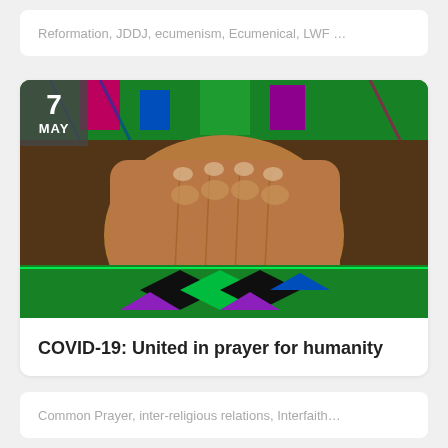Reformation, JDDJ, ecumenism, Ecumenical, LWF …
[Figure (photo): Close-up of elderly hands clasped together in prayer, resting on a colorful patterned fabric with green, purple, blue and black geometric designs. A date badge shows '7 MAY' in the top left corner.]
COVID-19: United in prayer for humanity
Common Prayer, inter-religious relations, Interfaith…